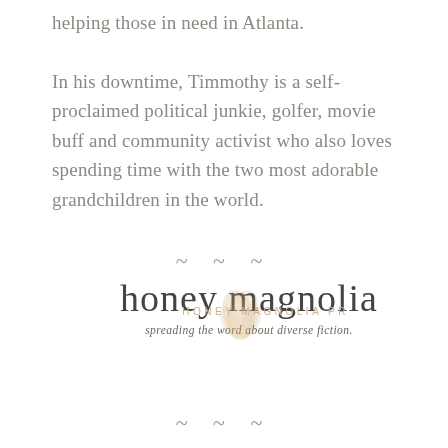helping those in need in Atlanta.

In his downtime, Timmothy is a self-proclaimed political junkie, golfer, movie buff and community activist who also loves spending time with the two most adorable grandchildren in the world.
~ ~ ~
[Figure (logo): Honey Magnolia PR logo: cursive script 'honey magnolia' with a watermark text 'HONEY MAGNOLIA PR' and a floral/petal watermark image, followed by tagline 'spreading the word about diverse fiction.']
~ ~ ~